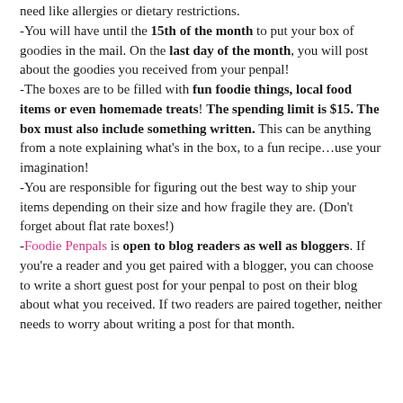need like allergies or dietary restrictions.
-You will have until the 15th of the month to put your box of goodies in the mail. On the last day of the month, you will post about the goodies you received from your penpal!
-The boxes are to be filled with fun foodie things, local food items or even homemade treats! The spending limit is $15. The box must also include something written. This can be anything from a note explaining what’s in the box, to a fun recipe…use your imagination!
-You are responsible for figuring out the best way to ship your items depending on their size and how fragile they are. (Don’t forget about flat rate boxes!)
-Foodie Penpals is open to blog readers as well as bloggers. If you’re a reader and you get paired with a blogger, you can choose to write a short guest post for your penpal to post on their blog about what you received. If two readers are paired together, neither needs to worry about writing a post for that month.